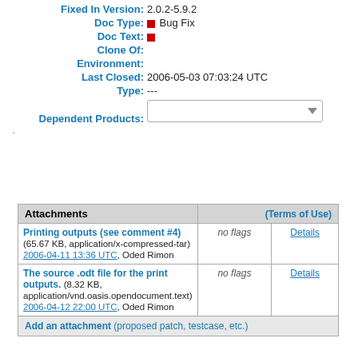Fixed In Version: 2.0.2-5.9.2
Doc Type: [checkbox] Bug Fix
Doc Text: [checkbox]
Clone Of:
Environment:
Last Closed: 2006-05-03 07:03:24 UTC
Type: ---
Dependent Products: [dropdown]
| Attachments | (Terms of Use) |  |  |
| --- | --- | --- | --- |
| Printing outputs (see comment #4) (65.67 KB, application/x-compressed-tar) 2006-04-11 13:36 UTC, Oded Rimon | no flags | Details |
| The source .odt file for the print outputs. (8.32 KB, application/vnd.oasis.opendocument.text) 2006-04-12 22:00 UTC, Oded Rimon | no flags | Details |
| Add an attachment (proposed patch, testcase, etc.) |  |  |